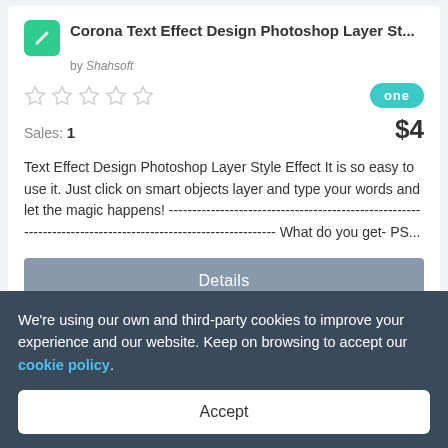Corona Text Effect Design Photoshop Layer St...
by Shahsoft
[Figure (illustration): Five empty star rating icons in a row, and a teal 'one' badge logo on the right]
Sales: 1   $4
Text Effect Design Photoshop Layer Style Effect It is so easy to use it. Just click on smart objects layer and type your words and let the magic happens! ------------------------------------------------------------------------------------------------------------ What do you get- PS...
Details
We're using our own and third-party cookies to improve your experience and our website. Keep on browsing to accept our cookie policy.
Accept